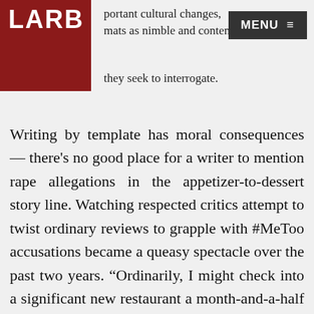portant cultural changes, formats as nimble and contemporary they seek to interrogate.
Writing by template has moral consequences — there's no good place for a writer to mention rape allegations in the appetizer-to-dessert story line. Watching respected critics attempt to twist ordinary reviews to grapple with #MeToo accusations became a queasy spectacle over the past two years. “Ordinarily, I might check into a significant new restaurant a month-and-a-half to two months into its life,” writes Alison Cook, justifying why she reviewed a venture owned by a chef arrested for assaulting his girlfriend. “Yet I didn’t visit Aqui until December 8, nearly four months after it opened, most likely (I believe in retrospect) because I